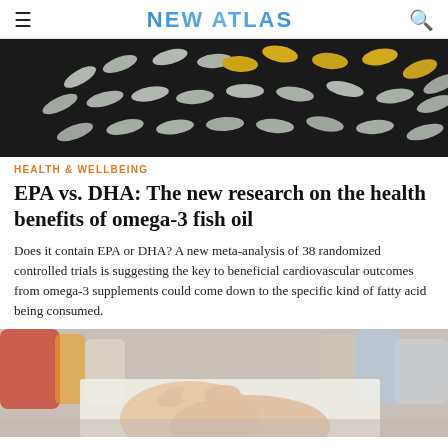NEW ATLAS
[Figure (photo): Overhead view of various supplement capsules and pills scattered on a dark black background — silver/grey oblong capsules and golden/yellow oval softgels]
HEALTH & WELLBEING
EPA vs. DHA: The new research on the health benefits of omega-3 fish oil
Does it contain EPA or DHA? A new meta-analysis of 38 randomized controlled trials is suggesting the key to beneficial cardiovascular outcomes from omega-3 supplements could come down to the specific kind of fatty acid being consumed.
[Figure (photo): Close-up photo of a person's hands (possibly a medical professional or patient) at a desk with blurry bottles and medical items in the background]